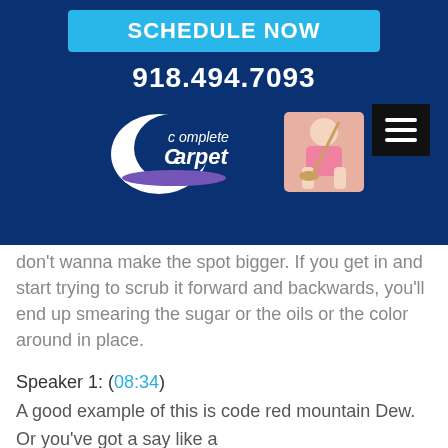[Figure (screenshot): Website header for Complete Carpet with a blue background, a cyan 'SCHEDULE NOW' button, phone number 918.494.7093, logo with crescent moon shape and child image, and hamburger menu icon]
don't wanna make the spot bigger. If you get in and start trying to scrub it forward and backwards, you'll end up smearing the sugar or the oils or the color around in place.
Speaker 1: (08:34)
A good example of this is code red mountain Dew. Or you've got a say like a